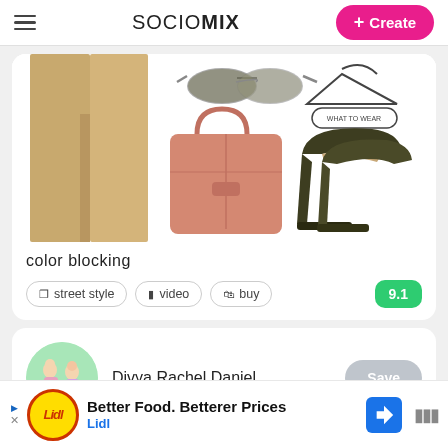SOCIOMIX  + Create
[Figure (photo): Fashion collage showing wide-leg tan trousers, aviator sunglasses, a salmon/pink tote bag, dark olive green high heel pumps, and a clothes hanger reading WHAT TO WEAR on a white background.]
color blocking
street style  •  video  🛍 buy  9.1
[Figure (illustration): Circular avatar showing two illustrated fashion figures in colorful outfits on a green background.]
Divya Rachel Daniel
Save
Better Food. Betterer Prices  Lidl